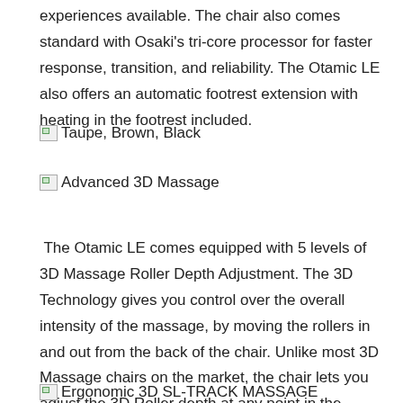experiences available. The chair also comes standard with Osaki's tri-core processor for faster response, transition, and reliability. The Otamic LE also offers an automatic footrest extension with heating in the footrest included.
[Figure (other): Broken image icon followed by text: Taupe, Brown, Black]
[Figure (other): Broken image icon followed by text: Advanced 3D Massage]
The Otamic LE comes equipped with 5 levels of 3D Massage Roller Depth Adjustment. The 3D Technology gives you control over the overall intensity of the massage, by moving the rollers in and out from the back of the chair. Unlike most 3D Massage chairs on the market, the chair lets you adjust the 3D Roller depth at any point in the massage, whether you're in an auto mode, or a manual mode.
[Figure (other): Broken image icon followed by text: Ergonomic 3D SL-TRACK MASSAGE]